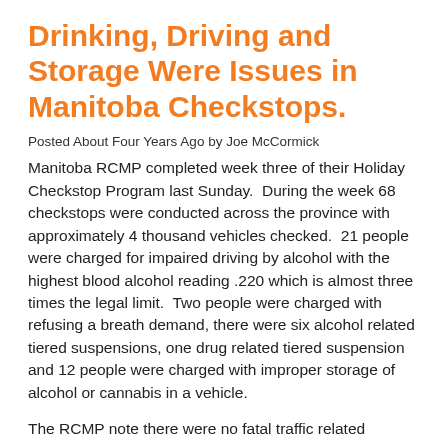Drinking, Driving and Storage Were Issues in Manitoba Checkstops.
Posted About Four Years Ago by Joe McCormick
Manitoba RCMP completed week three of their Holiday Checkstop Program last Sunday.  During the week 68 checkstops were conducted across the province with approximately 4 thousand vehicles checked.  21 people were charged for impaired driving by alcohol with the highest blood alcohol reading .220 which is almost three times the legal limit.  Two people were charged with refusing a breath demand, there were six alcohol related tiered suspensions, one drug related tiered suspension and 12 people were charged with improper storage of alcohol or cannabis in a vehicle.
The RCMP note there were no fatal traffic related